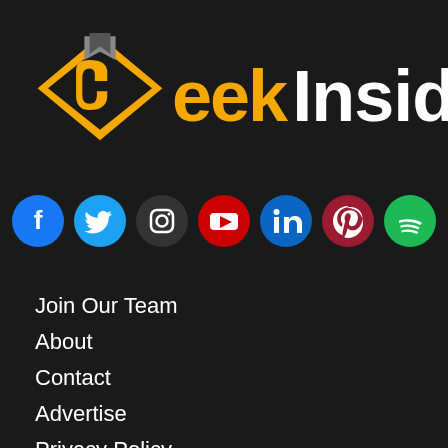[Figure (logo): Geek Insider logo with diamond-shaped orange/grey icon and text 'Geek Insider' in orange and white]
[Figure (infographic): Row of 7 social media icons: Facebook (blue), Twitter (light blue), Instagram (dark grey), YouTube (red), LinkedIn (blue), Pinterest (red/dark), Spotify (green)]
Join Our Team
About
Contact
Advertise
Privacy Policy